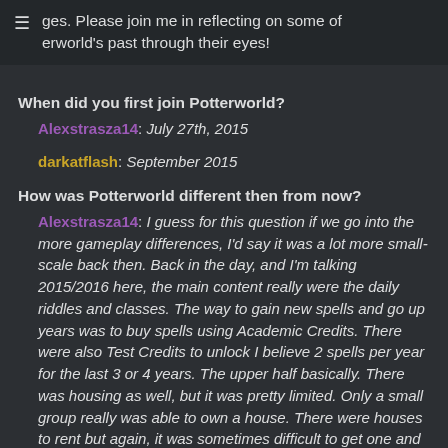ges. Please join me in reflecting on some of erworld's past through their eyes!
When did you first join Potterworld?
Alexstrasza14: July 27th, 2015
darkatflash: September 2015
How was Potterworld different then from now?
Alexstrasza14: I guess for this question if we go into the more gameplay differences, I'd say it was a lot more small-scale back then. Back in the day, and I'm talking 2015/2016 here, the main content really were the daily riddles and classes. The way to gain new spells and go up years was to buy spells using Academic Credits. There were also Test Credits to unlock I believe 2 spells per year for the last 3 or 4 years. The upper half basically. There was housing as well, but it was pretty limited. Only a small group really was able to own a house. There were houses to rent but again, it was sometimes difficult to get one and